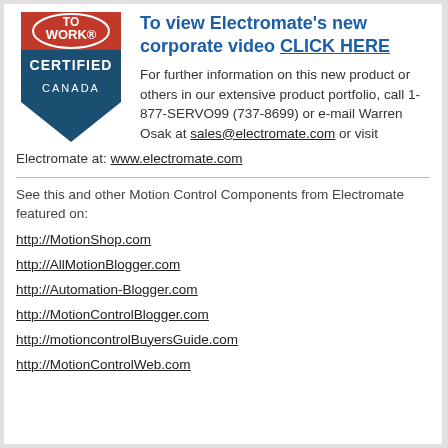[Figure (logo): Great Place to Work Certified Canada badge — red and dark blue shield/badge shape with text 'TO WORK', 'CERTIFIED', 'CANADA']
To view Electromate's new corporate video CLICK HERE
For further information on this new product or others in our extensive product portfolio, call 1-877-SERVO99 (737-8699) or e-mail Warren Osak at sales@electromate.com or visit Electromate at: www.electromate.com
See this and other Motion Control Components from Electromate featured on:
http://MotionShop.com
http://AllMotionBlogger.com
http://Automation-Blogger.com
http://MotionControlBlogger.com
http://motioncontrolBuyersGuide.com
http://MotionControlWeb.com